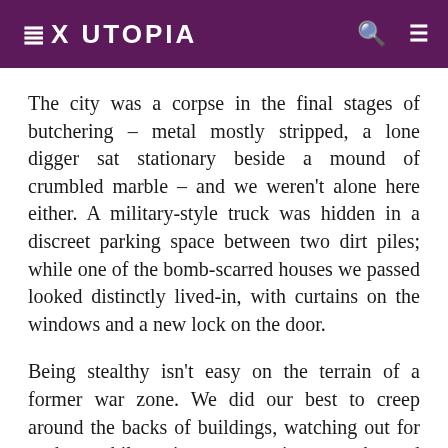EX UTOPIA
The city was a corpse in the final stages of butchering – metal mostly stripped, a lone digger sat stationary beside a mound of crumbled marble – and we weren't alone here either. A military-style truck was hidden in a discreet parking space between two dirt piles; while one of the bomb-scarred houses we passed looked distinctly lived-in, with curtains on the windows and a new lock on the door.
Being stealthy isn't easy on the terrain of a former war zone. We did our best to creep around the backs of buildings, watching out for snakes, while trying not to trip on rocks and rebar… and knowing full well that if our rental car was spotted first, we were already as good as caught. Nevertheless we slowly made our way towards the minarets that rose above the former